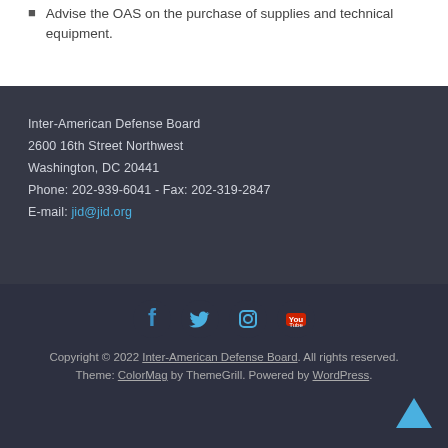Advise the OAS on the purchase of supplies and technical equipment.
Inter-American Defense Board
2600 16th Street Northwest
Washington, DC 20441
Phone: 202-939-6041 - Fax: 202-319-2847
E-mail: jid@jid.org
[Figure (other): Social media icons: Facebook, Twitter, Instagram, YouTube]
Copyright © 2022 Inter-American Defense Board. All rights reserved.
Theme: ColorMag by ThemeGrill. Powered by WordPress.